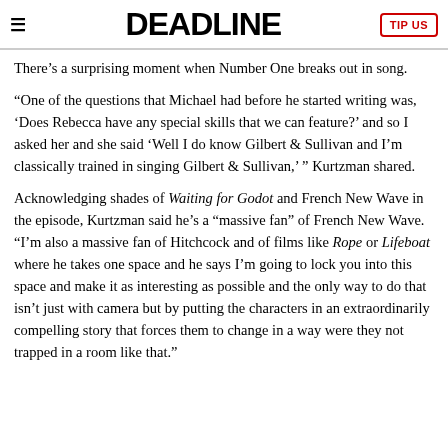DEADLINE
There's a surprising moment when Number One breaks out in song.
“One of the questions that Michael had before he started writing was, ‘Does Rebecca have any special skills that we can feature?’ and so I asked her and she said ‘Well I do know Gilbert & Sullivan and I’m classically trained in singing Gilbert & Sullivan,’ ” Kurtzman shared.
Acknowledging shades of Waiting for Godot and French New Wave in the episode, Kurtzman said he’s a “massive fan” of French New Wave. “I’m also a massive fan of Hitchcock and of films like Rope or Lifeboat where he takes one space and he says I’m going to lock you into this space and make it as interesting as possible and the only way to do that isn’t just with camera but by putting the characters in an extraordinarily compelling story that forces them to change in a way were they not trapped in a room like that.”